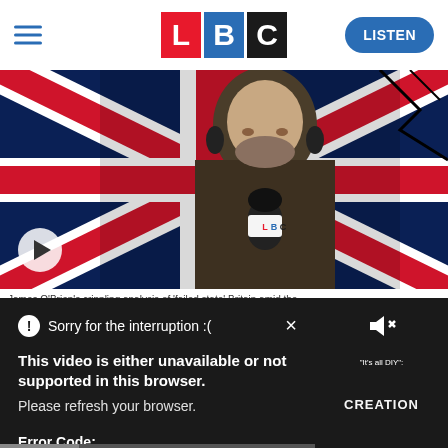[Figure (screenshot): LBC website header with hamburger menu, LBC logo (red L, blue B, black C tiles), and blue LISTEN button]
[Figure (screenshot): LBC video thumbnail showing a man with a beard in front of a Union Jack background with LBC microphone branding and a play button]
James O'Brien's crippling analysis of 'failed state' Britain amid the
[Figure (screenshot): Error overlay on dark background reading: Sorry for the interruption :( [X] — This video is either unavailable or not supported in this browser. Please refresh your browser. Error Code: MEDIA ERR SRC NOT SUPPORTED]
"It's all DIY":
CREATION